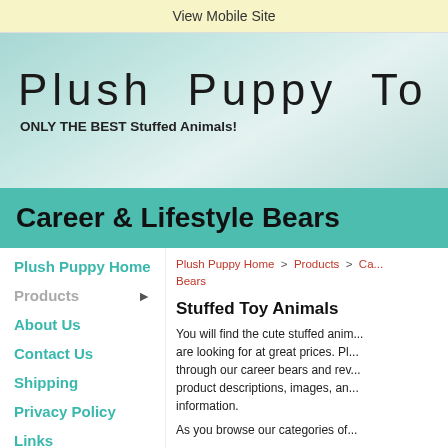View Mobile Site
Plush Puppy To Go
ONLY THE BEST Stuffed Animals!
Career & Lifestyle Bears
Plush Puppy Home
Products ▶
About Us
Contact Us
Shipping
Privacy Policy
Links
FAQ
Site Map
Plush Puppy Home  >  Products  >  Ca... Bears
Stuffed Toy Animals
You will find the cute stuffed anim... are looking for at great prices. Pl... through our career bears and rev... product descriptions, images, an... information.
As you browse our categories of...